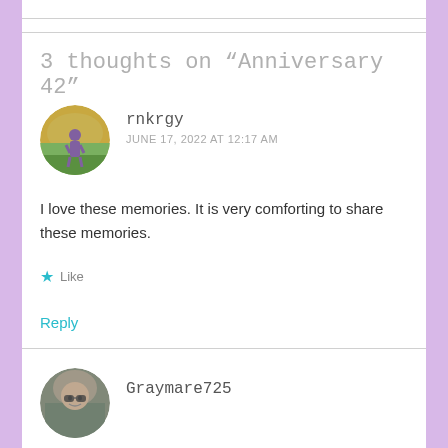3 thoughts on “Anniversary 42”
rnkrgy
JUNE 17, 2022 AT 12:17 AM
I love these memories. It is very comforting to share these memories.
★ Like
Reply
Graymare725